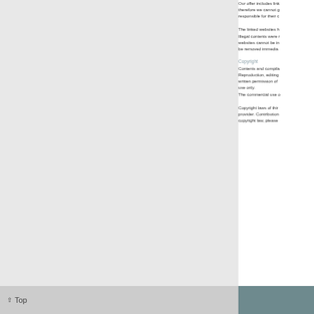Our offer includes links to external third party websites, therefore we cannot guarantee their current content. We are not responsible for their contents.
The linked websites had no illegal contents at the time of linking. Illegal contents were not identifiable. Permanent monitoring of the linked websites cannot be imposed without concrete evidence. Links will be removed immediately on becoming aware of a rights violation.
Copyright
Contents and compilations published on these websites are copyrighted. Reproduction, editing, distribution as well as the use of any kind outside the scope of the copyright law require a written permission of the author or originator. Downloads and copies of these pages are permitted for private use only.
The commercial use of our contents without permission of the originator is prohibited.
Copyright laws of third parties are respected as long as the contents on these websites do not originate from the provider. Contributions of third parties on this site are indicated as such. However, if you notice any violations of copyright law, please inform us.
⇧ Top